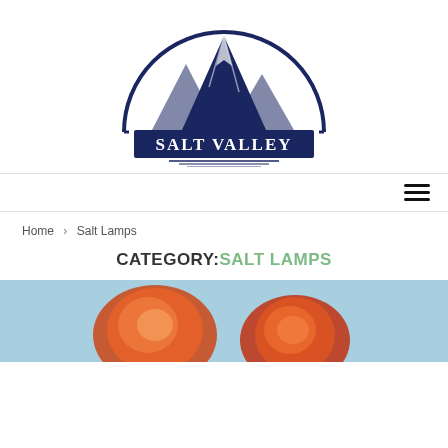[Figure (logo): Salt Valley mountain logo — circular emblem with mountain peaks and a navy banner reading SALT VALLEY, with horizontal lines beneath]
[Figure (other): Hamburger menu icon — three horizontal lines]
Home > Salt Lamps
CATEGORY: SALT LAMPS
[Figure (photo): Photograph showing orange/red salt lamps with a blurred light blue background]